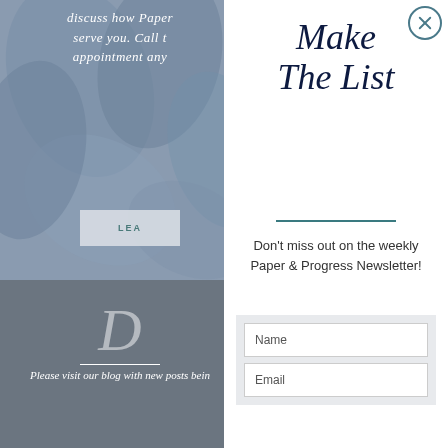discuss how Paper... serve you. Call t... appointment any...
LEA
[Figure (screenshot): Bottom gray section with cursive letter D and divider line]
Please visit our blog with new posts bein...
Make The List
Don't miss out on the weekly Paper & Progress Newsletter!
Name
Email